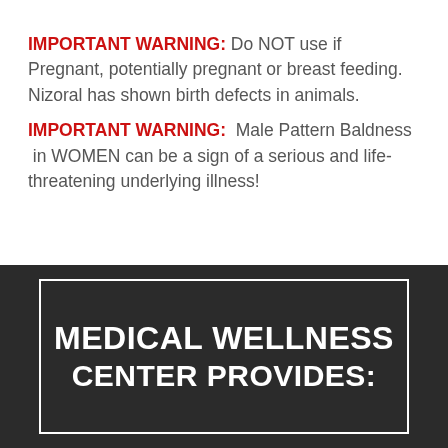IMPORTANT WARNING: Do NOT use if Pregnant, potentially pregnant or breast feeding. Nizoral has shown birth defects in animals.
IMPORTANT WARNING: Male Pattern Baldness in WOMEN can be a sign of a serious and life-threatening underlying illness!
MEDICAL WELLNESS CENTER PROVIDES: